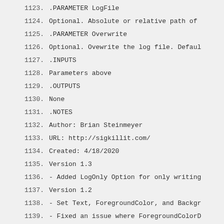1123.    .PARAMETER LogFile
1124.    Optional. Absolute or relative path of
1125.    .PARAMETER Overwrite
1126.    Optional. Ovewrite the log file. Defaul
1127.    .INPUTS
1128.    Parameters above
1129.    .OUTPUTS
1130.    None
1131.    .NOTES
1132.    Author: Brian Steinmeyer
1133.    URL: http://sigkillit.com/
1134.    Created: 4/18/2020
1135.    Version 1.3
1136.    - Added LogOnly Option for only writing
1137.    Version 1.2
1138.    - Set Text, ForegroundColor, and Backgr
1139.    - Fixed an issue where ForegroundColorD
1140.    - Added Requires -Version 4.0
1141.    Version 1.1
1142.    - Completely rewrote the "Main Text" se
1143.    - Added "Default" as a color option, wh
1144.      - Useful when you want to specify a b
1145.      - Ex: Write-Out -Text "How to ","high
1146.    Version: 1.0
1147.    - Initial Creation inspired by PSWriteC
1148.      - Improved upon by switching Foregrou
1149.        Will also ignore extra colors if mo
1150.    .EXAMPLE